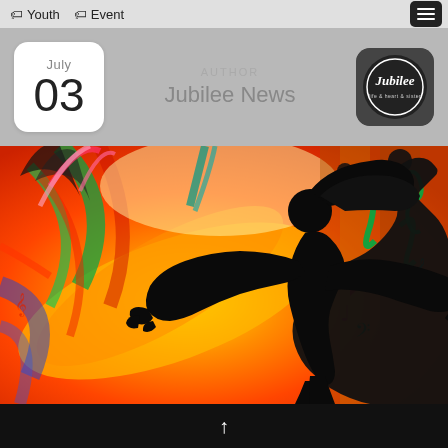Youth  Event
AUTHOR
Jubilee News
July 03
[Figure (illustration): Colorful illustration of a silhouetted person dancing with arms outstretched against a vibrant explosion of musical notes, feathers, and bright colors including orange, yellow, red, green, and blue.]
↑